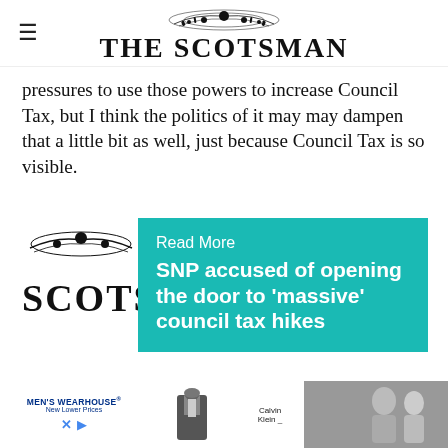THE SCOTSMAN
pressures to use those powers to increase Council Tax, but I think the politics of it may may dampen that a little bit as well, just because Council Tax is so visible.
[Figure (logo): The Scotsman newspaper logo (partial, partially obscured)]
Read More
SNP accused of opening the door to 'massive' council tax hikes
“I think it’s more likely to be in that around the ... ber co...